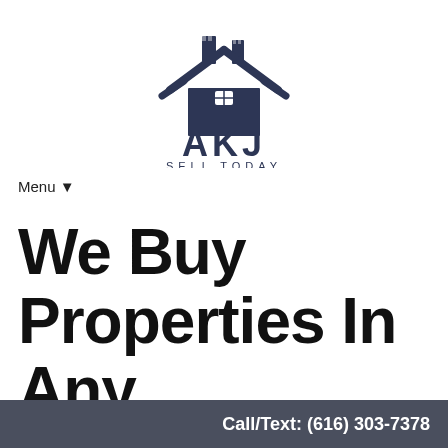[Figure (logo): AKJ Sell Today logo: dark navy house/building icon with roof shape and small window, bold letters AKJ below, text SELL TODAY beneath]
Menu ▼
We Buy Properties In Any Condition With Cash
Call/Text: (616) 303-7378